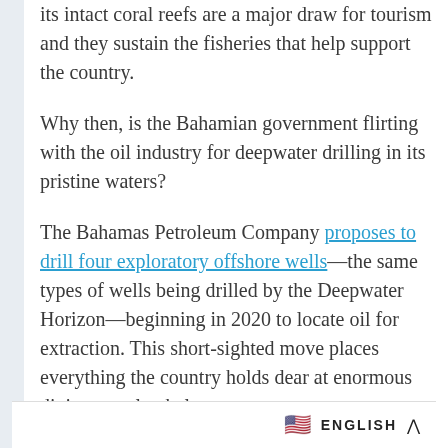its intact coral reefs are a major draw for tourism and they sustain the fisheries that help support the country.
Why then, is the Bahamian government flirting with the oil industry for deepwater drilling in its pristine waters?
The Bahamas Petroleum Company proposes to drill four exploratory offshore wells—the same types of wells being drilled by the Deepwater Horizon—beginning in 2020 to locate oil for extraction. This short-sighted move places everything the country holds dear at enormous diving, coral, whal
🇺🇸 ENGLISH ^